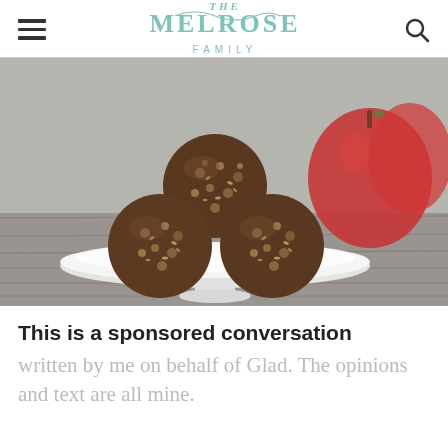the Melrose Family
[Figure (photo): Three round no-bake energy balls made with oats and seeds stacked on a white cake stand, with red apples blurred in the background on a wooden surface.]
This is a sponsored conversation
written by me on behalf of Glad. The opinions and text are all mine.